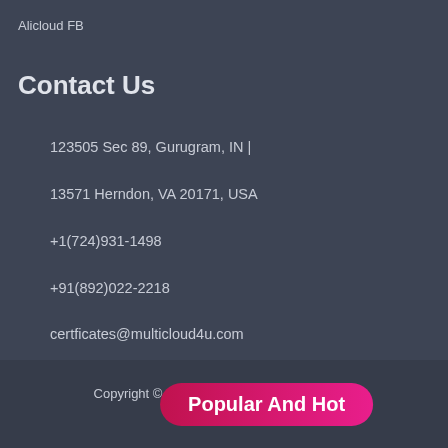Alicloud FB
Contact Us
123505 Sec 89, Gurugram, IN |
13571 Herndon, VA 20171, USA
+1(724)931-1498
+91(892)022-2218
certficates@multicloud4u.com
Copyright © 2021 Multicloud4u Technologies.
Terms and Co...
Popular And Hot